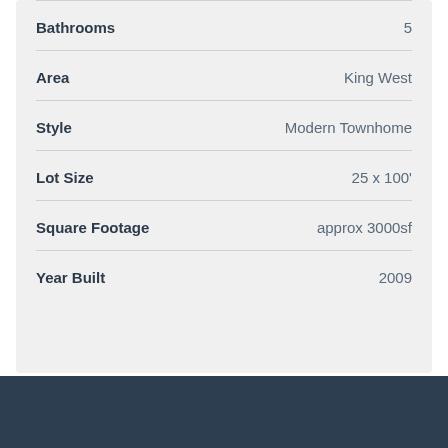| Property Feature | Value |
| --- | --- |
| Bathrooms | 5 |
| Area | King West |
| Style | Modern Townhome |
| Lot Size | 25 x 100' |
| Square Footage | approx 3000sf |
| Year Built | 2009 |